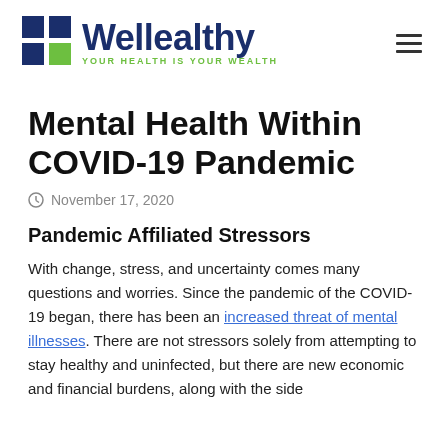Wellealthy — YOUR HEALTH IS YOUR WEALTH
Mental Health Within COVID-19 Pandemic
November 17, 2020
Pandemic Affiliated Stressors
With change, stress, and uncertainty comes many questions and worries. Since the pandemic of the COVID-19 began, there has been an increased threat of mental illnesses. There are not stressors solely from attempting to stay healthy and uninfected, but there are new economic and financial burdens, along with the side